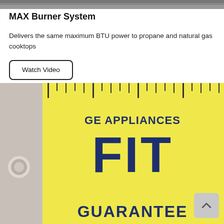[Figure (photo): Partial top image, dark/grey tones, appears to be a cooktop burner photo cropped at the top]
MAX Burner System
Delivers the same maximum BTU power to propane and natural gas cooktops
[Figure (illustration): Watch Video button - rounded rectangle button with label 'Watch Video']
[Figure (logo): GE Appliances FIT GUARANTEE graphic on yellow background with ruler motif and grey tab on left side]